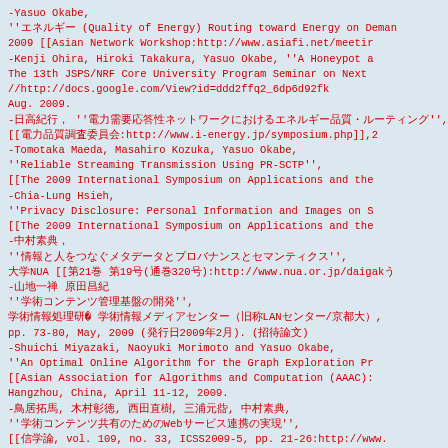-Yasuo Okabe,
''エネルギー (Quality of Energy) Routing toward Energy on Demand,
2009 [[Asian Network Workshop:http://www.asiafi.net/meetin
-Kenji Ohira, Hiroki Takakura, Yasuo Okabe, ''A Honeypot a
The 13th JSPS/NRF Core University Program Seminar on Next
//http://docs.google.com/View?id=ddd2ffq2_6dp6d92fk
Aug. 2009.
-日高紀行, 岡部寿男, ''電力需要応答性ネットワークにおけるエネルギー品質・ルーティング'',
[[電力品質調査委員会:http://www.i-energy.jp/symposium.php]],2
-Tomotaka Maeda, Masahiro Kozuka, Yasuo Okabe,
''Reliable Streaming Transmission Using PR-SCTP'',
[[The 2009 International Symposium on Applications and the
-Chia-Lung Hsieh,
''Privacy Disclosure: Personal Information and Images on S
[[The 2009 International Symposium on Applications and the
-中村素典,
''情報と人をつなぐメタデータとプロバナンスとセマンティクス'',
大学NUA [[第21巻 第19号(通巻320号):http://www.nua.or.jp/daigaku
-山地一禎 原田昌紀
''学術コンテンツ管理基盤の開発'',
学術情報処理研究1649 学術情報メディアセンター(旧称LANセンター/京都大),
pp. 73-80, May, 2009 (発行日2009年2月). (招待論文)
-Shuichi Miyazaki, Naoyuki Morimoto and Yasuo Okabe,
''An Optimal Online Algorithm for the Graph Exploration Pr
[[Asian Association for Algorithms and Computation (AAAC):
Hangzhou, China, April 11-12, 2009.
-鳥居拓馬, 木村彰徳, 西田直樹, 三浦元喜, 中村素典,
''学術コンテンツ共有のためのWebサービス連携の実現'',
[[信学論, vol. 109, no. 33, ICSS2009-5, pp. 21-26:http://www.
((Vol. IEICE 109, No. IEICE ICSS 33, pp.21-26, 2009年5月